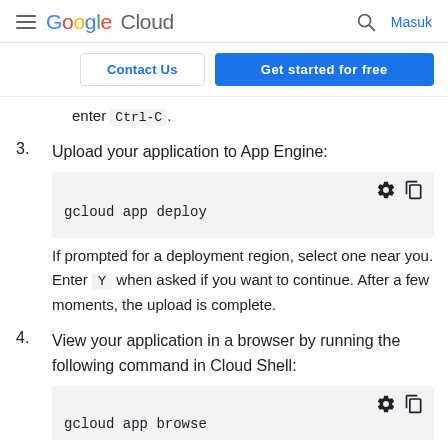Google Cloud — Masuk
[Figure (screenshot): Contact Us and Get started for free buttons]
enter Ctrl-C.
3. Upload your application to App Engine:
[Figure (screenshot): Code block with: gcloud app deploy]
If prompted for a deployment region, select one near you. Enter Y when asked if you want to continue. After a few moments, the upload is complete.
4. View your application in a browser by running the following command in Cloud Shell:
[Figure (screenshot): Partial code block starting with: gcloud app browse]